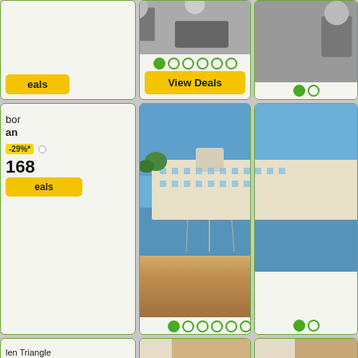[Figure (photo): Hotel photo top row, partial view - dining area with chairs]
View Deals
[Figure (photo): Hotel photo top right, partial]
bor
an
9%*
168
eals
[Figure (photo): Blue Harbor Resort - waterfront resort building at dusk]
Blue Harbor Resort
Sheboygan
$237 -29%*
From $168
View Deals
[Figure (photo): Blue Harbor Resort right partial]
len Triangle
p & Resort
aen
9%*
874
eals
[Figure (photo): Anantara Golden Triangle - couple in luxury resort room]
Anantara Golden Triangle Elephant Camp & Resort
Chiang Saen
$1,078 -19%*
From $874
View Deals
[Figure (photo): Anantara resort right partial]